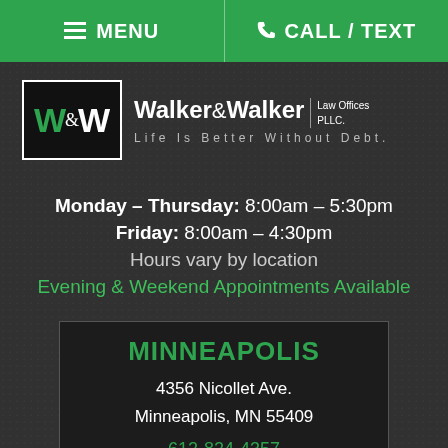MENU  |  CALL / TEXT
[Figure (logo): Walker & Walker Law Offices PLLC logo with W&W monogram in black box and tagline 'Life Is Better Without Debt.']
Monday – Thursday: 8:00am – 5:30pm
Friday: 8:00am – 4:30pm
Hours vary by location
Evening & Weekend Appointments Available
MINNEAPOLIS
4356 Nicollet Ave.
Minneapolis, MN 55409
612-824-4357